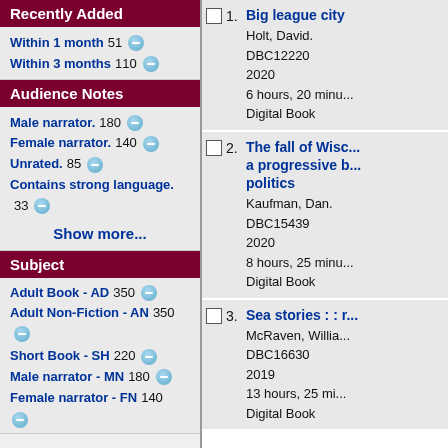Recently Added
Within 1 month 51
Within 3 months 110
Audience Notes
Male narrator. 180
Female narrator. 140
Unrated. 85
Contains strong language. 33
Show more...
Subject
Adult Book - AD 350
Adult Non-Fiction - AN 350
Short Book - SH 220
Male narrator - MN 180
Female narrator - FN 140
1. Big league city
Holt, David.
DBC12220
2020
6 hours, 20 minu...
Digital Book
2. The fall of Wisc... a progressive b... politics
Kaufman, Dan.
DBC15439
2020
8 hours, 25 minu...
Digital Book
3. Sea stories : : r...
McRaven, Willia...
DBC16630
2019
13 hours, 25 mi...
Digital Book